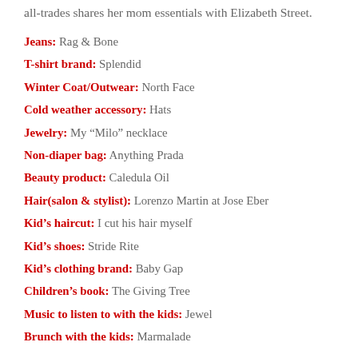all-trades shares her mom essentials with Elizabeth Street.
Jeans: Rag & Bone
T-shirt brand: Splendid
Winter Coat/Outwear: North Face
Cold weather accessory: Hats
Jewelry: My “Milo” necklace
Non-diaper bag: Anything Prada
Beauty product: Caledula Oil
Hair(salon & stylist): Lorenzo Martin at Jose Eber
Kid's haircut: I cut his hair myself
Kid's shoes: Stride Rite
Kid's clothing brand: Baby Gap
Children's book: The Giving Tree
Music to listen to with the kids: Jewel
Brunch with the kids: Marmalade